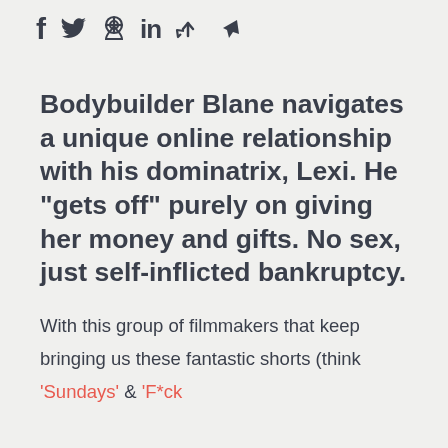f  [twitter]  [pinterest]  in  [share]  [share2]
Bodybuilder Blane navigates a unique online relationship with his dominatrix, Lexi. He “gets off” purely on giving her money and gifts. No sex, just self-inflicted bankruptcy.
With this group of filmmakers that keep bringing us these fantastic shorts (think ‘Sundays’ & ‘F*ck